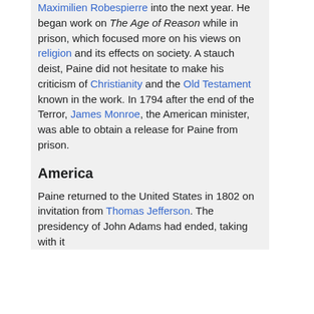Maximilien Robespierre into the next year. He began work on The Age of Reason while in prison, which focused more on his views on religion and its effects on society. A stauch deist, Paine did not hesitate to make his criticism of Christianity and the Old Testament known in the work. In 1794 after the end of the Terror, James Monroe, the American minister, was able to obtain a release for Paine from prison.
America
Paine returned to the United States in 1802 on invitation from Thomas Jefferson. The presidency of John Adams had ended, taking with it